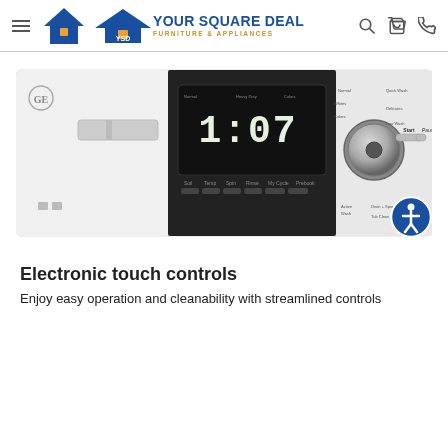YOUR SQUARE DEAL FURNITURE & APPLIANCES
[Figure (photo): GE washing machine control panel showing a white front-load washer top control panel with digital display showing 1:07, a large silver selector knob, touch buttons including Soil, Temp, Spin, Rinse, My Cycle, Prebook, and other settings. An accessibility icon button overlays the bottom-right of the image.]
Electronic touch controls
Enjoy easy operation and cleanability with streamlined controls